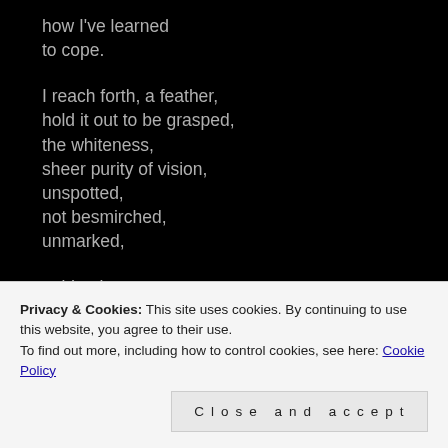how I've learned
to cope.

I reach forth, a feather,
hold it out to be grasped,
the whiteness,
sheer purity of vision,
unspotted,
not besmirched,
unmarked,

stridently,
my wings spread,
Privacy & Cookies: This site uses cookies. By continuing to use this website, you agree to their use.
To find out more, including how to control cookies, see here: Cookie Policy

Close and accept
and further will I rise